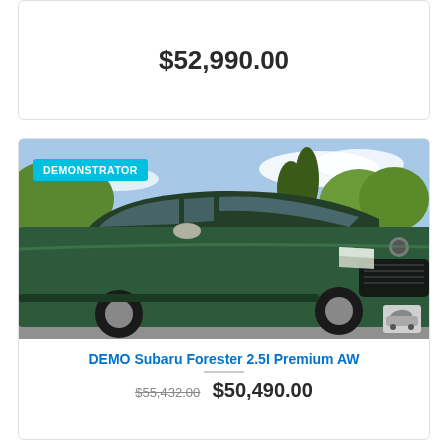$52,990.00
[Figure (photo): Green Subaru Forester SUV parked outdoors with trees and blue sky in background. A cyan 'DEMONSTRATOR' badge overlay is visible in the top-left corner of the image. A small thumbnail silhouette of the car is visible in the bottom-right corner.]
DEMO Subaru Forester 2.5I Premium AW...
$55,432.00  $50,490.00